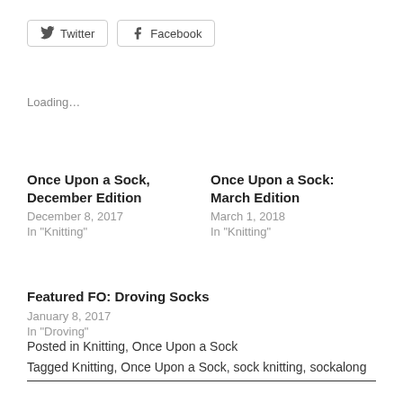[Figure (other): Twitter and Facebook share buttons with icons]
Loading…
Once Upon a Sock, December Edition
December 8, 2017
In "Knitting"
Once Upon a Sock: March Edition
March 1, 2018
In "Knitting"
Featured FO: Droving Socks
January 8, 2017
In "Droving"
Posted in Knitting, Once Upon a Sock
Tagged Knitting, Once Upon a Sock, sock knitting, sockalong